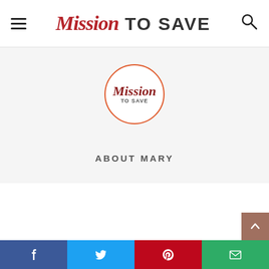Mission To Save
[Figure (logo): Mission to Save circular logo with orange border, dark red script 'Mission' and small caps 'TO SAVE' text inside]
ABOUT MARY
[Figure (infographic): Social share bar with Facebook, Twitter, Pinterest, and Email buttons]